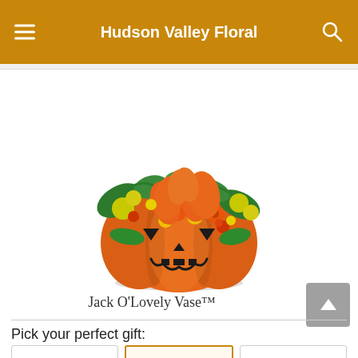Hudson Valley Floral
[Figure (photo): Halloween floral arrangement in an orange jack-o'-lantern ceramic vase, filled with orange lilies, yellow daisies, orange gerberas, yellow solidago, and greenery.]
Jack O'Lovely Vase™
Pick your perfect gift: